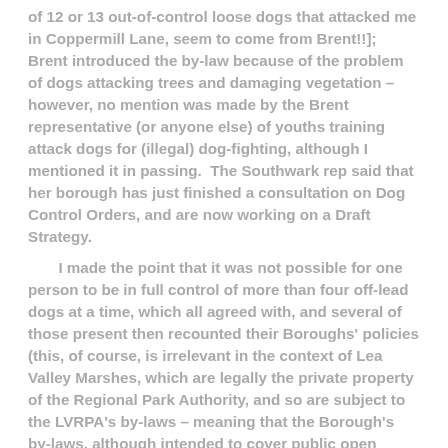of 12 or 13 out-of-control loose dogs that attacked me in Coppermill Lane, seem to come from Brent!!]; Brent introduced the by-law because of the problem of dogs attacking trees and damaging vegetation – however, no mention was made by the Brent representative (or anyone else) of youths training attack dogs for (illegal) dog-fighting, although I mentioned it in passing.  The Southwark rep said that her borough has just finished a consultation on Dog Control Orders, and are now working on a Draft Strategy.
	I made the point that it was not possible for one person to be in full control of more than four off-lead dogs at a time, which all agreed with, and several of those present then recounted their Boroughs' policies (this, of course, is irrelevant in the context of Lea Valley Marshes, which are legally the private property of the Regional Park Authority, and so are subject to the LVRPA's by-laws – meaning that the Borough's by-laws, although intended to cover public open spaces in the entire Borough, cannot legally be enforced there).  I raised the issue and said that in Newham an arrangement had been reached whereby the LVRPA had agreed to follow Newham's strict dogs in public places by-laws; so why could this not happen elsewhere.  [However, as I explained, most of the reps were concerned with Council-